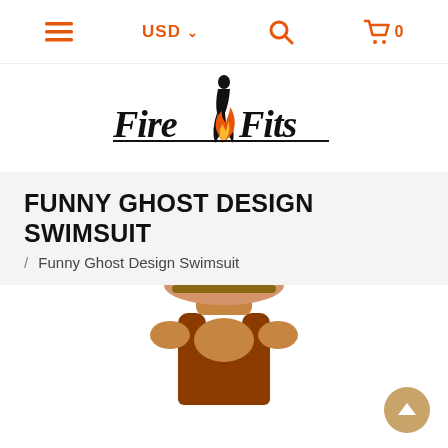≡  USD ∨  🔍  🛒 0
[Figure (logo): FireFits logo with stylized flame and female silhouette figure between Fire and Fits text]
FUNNY GHOST DESIGN SWIMSUIT
/ Funny Ghost Design Swimsuit
[Figure (photo): Woman wearing a rust/brown colored one-piece swimsuit, cropped to show head and upper torso, with a scroll-to-top arrow button in the lower right corner]